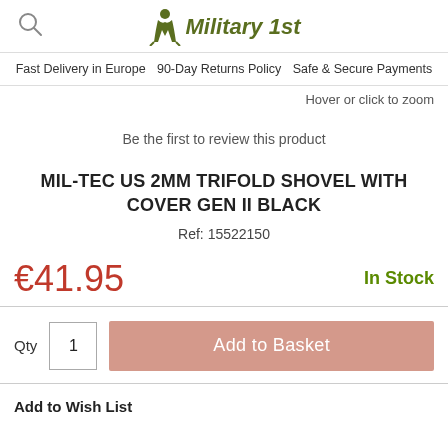Military 1st
Fast Delivery in Europe   90-Day Returns Policy   Safe & Secure Payments
Hover or click to zoom
Be the first to review this product
MIL-TEC US 2MM TRIFOLD SHOVEL WITH COVER GEN II BLACK
Ref: 15522150
€41.95
In Stock
Qty  1  Add to Basket
Add to Wish List